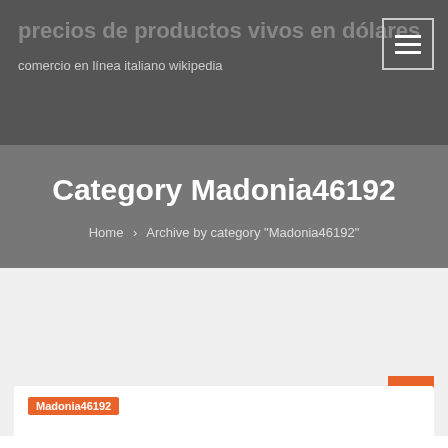precios de productos vivos en dólares
comercio en línea italiano wikipedia
Category Madonia46192
Home › Archive by category "Madonia46192"
Madonia46192